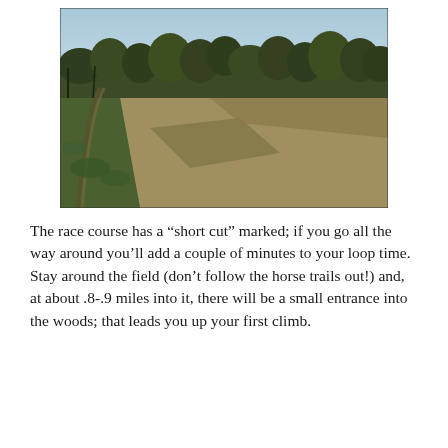[Figure (photo): Outdoor photograph of an open field with dry grass and green patches along the edges. A narrow dirt path curves along the left side. In the background, a treeline of bare and leafing trees is visible against a pale blue sky.]
The race course has a “short cut” marked; if you go all the way around you’ll add a couple of minutes to your loop time. Stay around the field (don’t follow the horse trails out!) and, at about .8-.9 miles into it, there will be a small entrance into the woods; that leads you up your first climb.